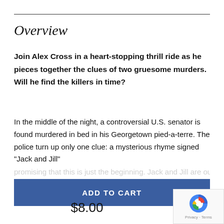Overview
Join Alex Cross in a heart-stopping thrill ride as he pieces together the clues of two gruesome murders. Will he find the killers in time?
In the middle of the night, a controversial U.S. senator is found murdered in bed in his Georgetown pied-a-terre. The police turn up only one clue: a mysterious rhyme signed "Jack and Jill" promising that this is just the beginning. Jack and Jill are out to
[Figure (other): Add to Cart button — blue rectangular button with white uppercase text 'ADD TO CART']
$8.00
[Figure (logo): reCAPTCHA logo with Privacy and Terms text]